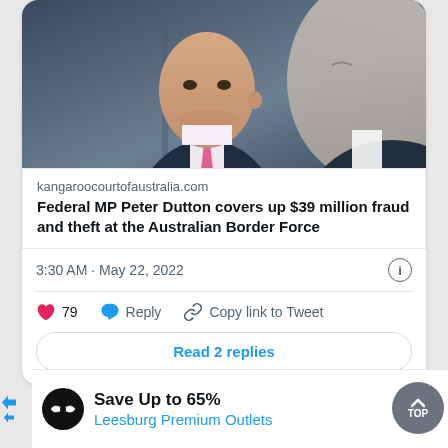[Figure (photo): Two men in suits, one facing forward with a serious expression (bald man in dark suit with pink tie), one in partial profile view on the right]
kangaroocourtofaustralia.com
Federal MP Peter Dutton covers up $39 million fraud and theft at the Australian Border Force
3:30 AM · May 22, 2022
79   Reply   Copy link to Tweet
Read 2 replies
Save Up to 65%
Leesburg Premium Outlets